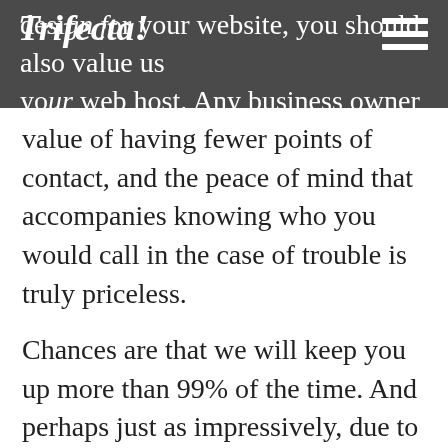design for your website, you should also value using your web host. Any business owner knows the
value of having fewer points of contact, and the peace of mind that accompanies knowing who you would call in the case of trouble is truly priceless.
Chances are that we will keep you up more than 99% of the time. And perhaps just as impressively, due to automatic alert systems, the chances are that we will know that your website is down before you do and will already be working to solve any problem that arises.